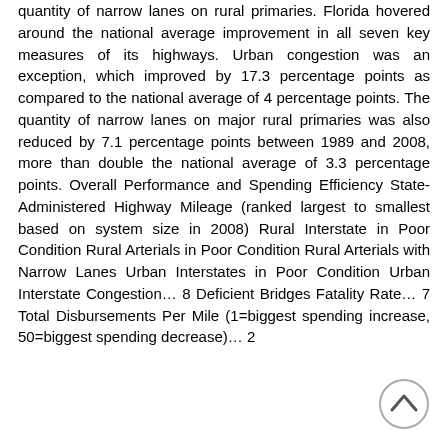quantity of narrow lanes on rural primaries. Florida hovered around the national average improvement in all seven key measures of its highways. Urban congestion was an exception, which improved by 17.3 percentage points as compared to the national average of 4 percentage points. The quantity of narrow lanes on major rural primaries was also reduced by 7.1 percentage points between 1989 and 2008, more than double the national average of 3.3 percentage points. Overall Performance and Spending Efficiency State-Administered Highway Mileage (ranked largest to smallest based on system size in 2008) Rural Interstate in Poor Condition Rural Arterials in Poor Condition Rural Arterials with Narrow Lanes Urban Interstates in Poor Condition Urban Interstate Congestion… 8 Deficient Bridges Fatality Rate… 7 Total Disbursements Per Mile (1=biggest spending increase, 50=biggest spending decrease)… 2
[Figure (other): A circular back-to-top button with an upward-pointing chevron arrow, grey outline on white background, positioned at bottom-right of page.]